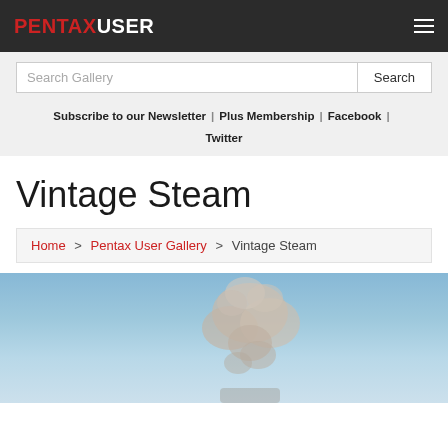PENTAXUSER
Search Gallery | Search
Subscribe to our Newsletter | Plus Membership | Facebook | Twitter
Vintage Steam
Home > Pentax User Gallery > Vintage Steam
[Figure (photo): Partial view of a steam/smoke cloud rising against a blue sky, from a vintage steam locomotive or engine]